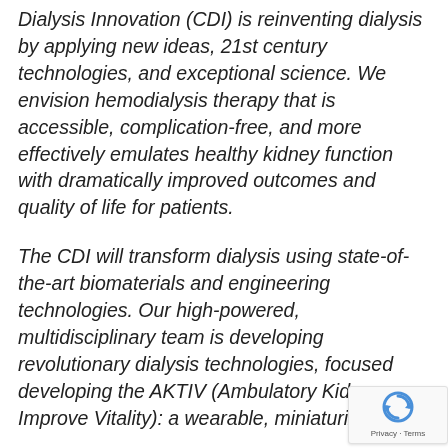Dialysis Innovation (CDI) is reinventing dialysis by applying new ideas, 21st century technologies, and exceptional science. We envision hemodialysis therapy that is accessible, complication-free, and more effectively emulates healthy kidney function with dramatically improved outcomes and quality of life for patients.
The CDI will transform dialysis using state-of-the-art biomaterials and engineering technologies. Our high-powered, multidisciplinary team is developing revolutionary dialysis technologies, focused developing the AKTIV (Ambulatory Kidney Improve Vitality): a wearable, miniaturized